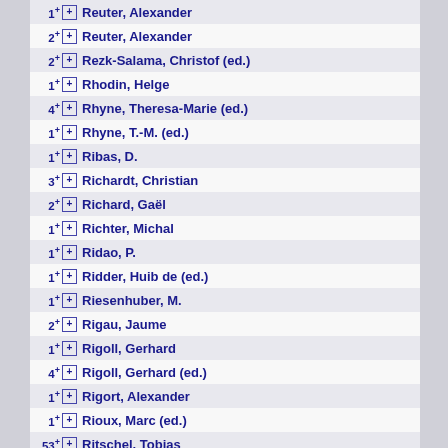1 [+] Rhodin, Helge
2 [+] Reuter, Alexander
2 [+] Rezk-Salama, Christof (ed.)
1 [+] Rhodin, Helge
4 [+] Rhyne, Theresa-Marie (ed.)
1 [+] Rhyne, T.-M. (ed.)
1 [+] Ribas, D.
3 [+] Richardt, Christian
2 [+] Richard, Gaël
1 [+] Richter, Michal
1 [+] Ridao, P.
1 [+] Ridder, Huib de (ed.)
1 [+] Riesenhuber, M.
2 [+] Rigau, Jaume
1 [+] Rigoll, Gerhard
4 [+] Rigoll, Gerhard (ed.)
1 [+] Rigort, Alexander
1 [+] Rioux, Marc (ed.)
53 [+] Ritschel, Tobias
2 [+] Robertini, Nadia
1 [+] Roble, Doug (ed.)
1 [+] Rockwood, Alyn (ed.)
1 [-] Rogge, Lorenz